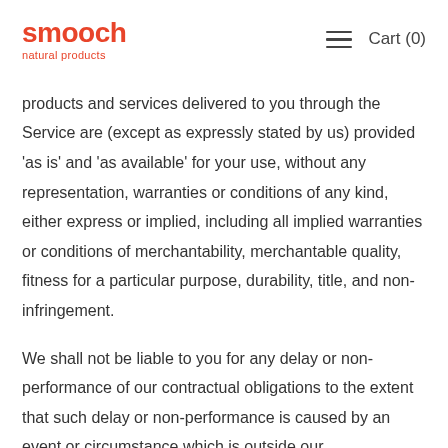smooch natural products — Cart (0)
products and services delivered to you through the Service are (except as expressly stated by us) provided 'as is' and 'as available' for your use, without any representation, warranties or conditions of any kind, either express or implied, including all implied warranties or conditions of merchantability, merchantable quality, fitness for a particular purpose, durability, title, and non-infringement.
We shall not be liable to you for any delay or non-performance of our contractual obligations to the extent that such delay or non-performance is caused by an event or circumstance which is outside our